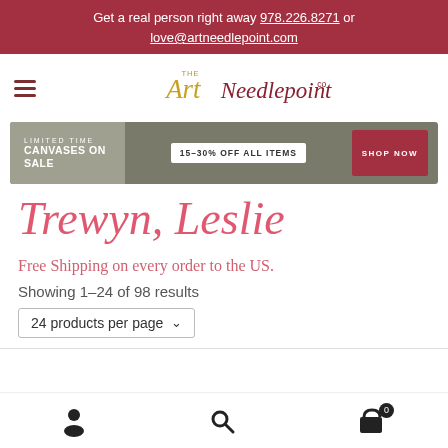Get a real person right away 978.226.8271 or love@artneedlepoint.com
[Figure (logo): The Art Needlepoint Co. logo with hamburger menu icon]
[Figure (infographic): Banner: LIMITED TIME CANVASES ON SALE — 15-30% OFF ALL ITEMS — SHOP NOW]
Trewyn, Leslie
Free Shipping on every order to the US.
Showing 1–24 of 98 results
24 products per page
Account | Search | Cart (0)